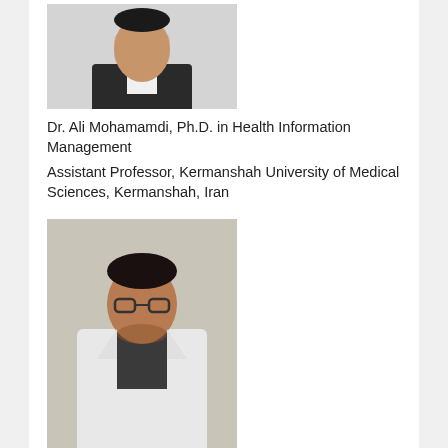[Figure (photo): Headshot photo of Dr. Ali Mohamamdi, man in dark suit]
Dr. Ali Mohamamdi, Ph.D. in Health Information Management
Assistant Professor, Kermanshah University of Medical Sciences, Kermanshah, Iran
[Figure (photo): Photo of Dr. Alireza Javadinia wearing glasses and white coat]
Dr. Alireza Javadinia, Iran
Department of Radiation Oncology, Faculty of Medicine, Mashhad University of Medical Sciences, Mashhad, Iran
[Figure (photo): Headshot photo of a young man in dark clothing]